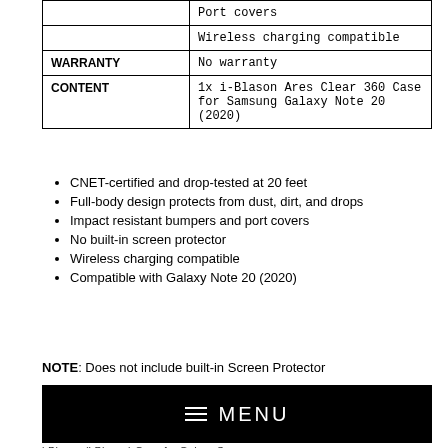|  | Port covers |
|  | Wireless charging compatible |
| WARRANTY | No warranty |
| CONTENT | 1x i-Blason Ares Clear 360 Case for Samsung Galaxy Note 20 (2020) |
CNET-certified and drop-tested at 20 feet
Full-body design protects from dust, dirt, and drops
Impact resistant bumpers and port covers
No built-in screen protector
Wireless charging compatible
Compatible with Galaxy Note 20 (2020)
NOTE: Does not include built-in Screen Protector
[Figure (other): Black navigation menu bar with hamburger icon and the word MENU in white capital letters]
i-Blason (i-Blason) Case for Galaxy S...